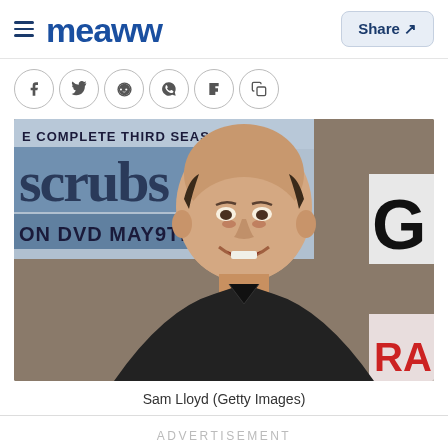Meaww — Share
[Figure (photo): Sam Lloyd smiling at a Scrubs Complete Third Season DVD event backdrop, wearing a dark blazer]
Sam Lloyd (Getty Images)
ADVERTISEMENT